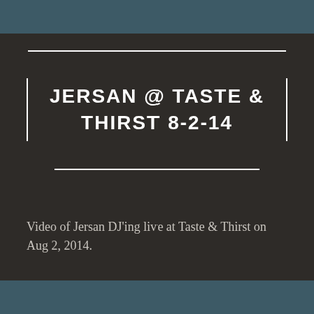JERSAN @ TASTE & THIRST 8-2-14
Video of Jersan DJ'ing live at Taste & Thirst on Aug 2, 2014.